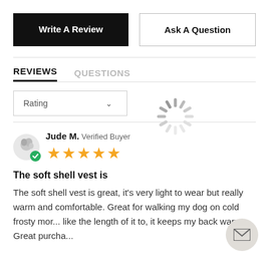Write A Review
Ask A Question
REVIEWS   QUESTIONS
Rating
[Figure (other): Loading spinner animation (circular dashed spinner)]
Jude M.  Verified Buyer
[Figure (other): 5 gold stars rating]
The soft shell vest is
The soft shell vest is great, it's very light to wear but really warm and comfortable. Great for walking my dog on cold frosty mor... like the length of it to, it keeps my back warm. Great purcha...